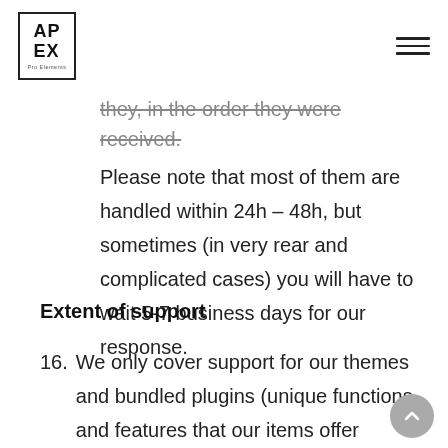APEX Pro Elements logo and hamburger menu
they, in the order they were received.
Please note that most of them are handled within 24h – 48h, but sometimes (in very rear and complicated cases) you will have to wait 5-7 business days for our response.
Extent of support
16. We only cover support for our themes and bundled plugins (unique functions and features that our items offer beyond standard WordPress), and cannot